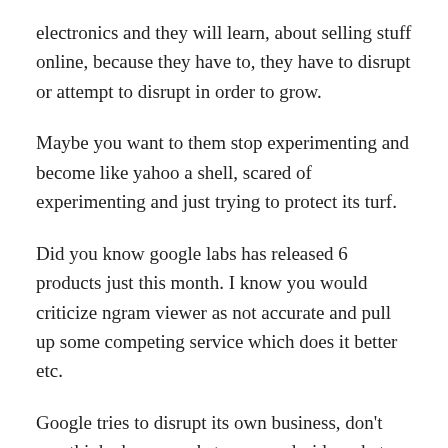electronics and they will learn, about selling stuff online, because they have to, they have to disrupt or attempt to disrupt in order to grow.
Maybe you want to them stop experimenting and become like yahoo a shell, scared of experimenting and just trying to protect its turf.
Did you know google labs has released 6 products just this month. I know you would criticize ngram viewer as not accurate and pull up some competing service which does it better etc.
Google tries to disrupt its own business, don't you think chrome webstore or android market actually undercuts their own search from which they derive billions of dollars.